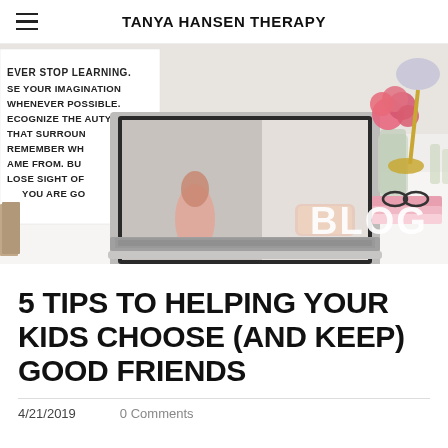TANYA HANSEN THERAPY
[Figure (photo): A styled desk scene with laptop, pink roses in a vase, small glass bottles, a gold lamp, pink notebooks, and glasses on a white desk. A framed motivational poster is in the background. The word BLOG appears in large white text on the right side of the image.]
5 TIPS TO HELPING YOUR KIDS CHOOSE (AND KEEP) GOOD FRIENDS
4/21/2019    0 Comments